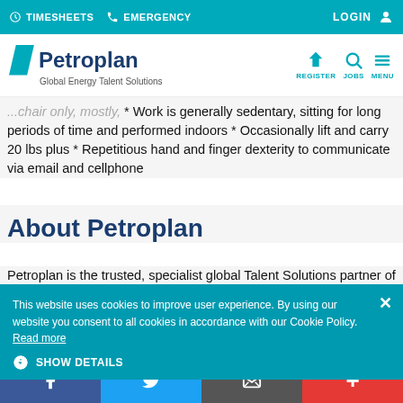TIMESHEETS  EMERGENCY  LOGIN
[Figure (logo): Petroplan logo with teal slash icon and text 'Petroplan Global Energy Talent Solutions', with REGISTER, JOBS, MENU navigation icons]
...chair only, mostly * Work is generally sedentary, sitting for long periods of time and performed indoors * Occasionally lift and carry 20 lbs plus * Repetitious hand and finger dexterity to communicate via email and cellphone
About Petroplan
Petroplan is the trusted, specialist global Talent Solutions partner of
This website uses cookies to improve user experience. By using our website you consent to all cookies in accordance with our Cookie Policy. Read more
SHOW DETAILS
Facebook  Twitter  Email  +